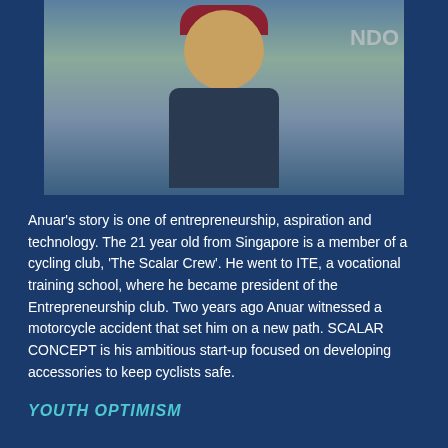[Figure (photo): Portrait photo of a young man smiling, wearing a dark t-shirt and a red backwards cap, photographed against a background with partial text reading 'NDO'.]
Anuar's story is one of entrepreneurship, aspiration and technology. The 21 year old from Singapore is a member of a cycling club, 'The Scalar Crew'. He went to ITE, a vocational training school, where he became president of the Entrepreneurship club. Two years ago Anuar witnessed a motorcycle accident that set him on a new path. SCALAR CONCEPT is his ambitious start-up focused on developing accessories to keep cyclists safe.
YOUTH OPTIMISM